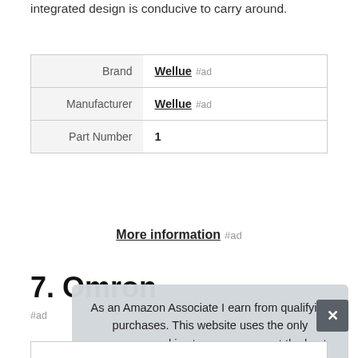integrated design is conducive to carry around.
| Brand | Wellue #ad |
| Manufacturer | Wellue #ad |
| Part Number | 1 |
More information #ad
7. Omron
#ad
As an Amazon Associate I earn from qualifying purchases. This website uses the only necessary cookies to ensure you get the best experience on our website. More information